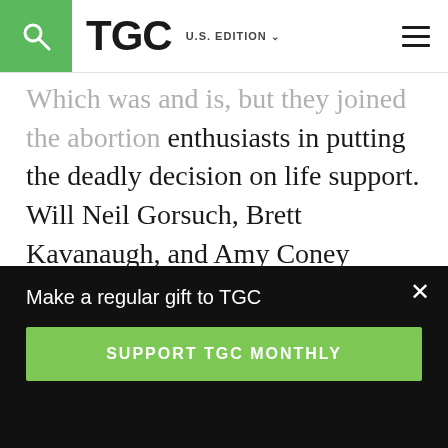TGC U.S. EDITION
Which was and is, but they joined the abortion enthusiasts in putting the deadly decision on life support. Will Neil Gorsuch, Brett Kavanaugh, and Amy Coney Barrett do the same this time, staring at Roe and then mumbling the Latin phrase for letting decisions stand, stare decisis?
That’s a good practice in general but not in the face of egregious error. But whatever the
Make a regular gift to TGC
SUPPORT TGC MONTHLY